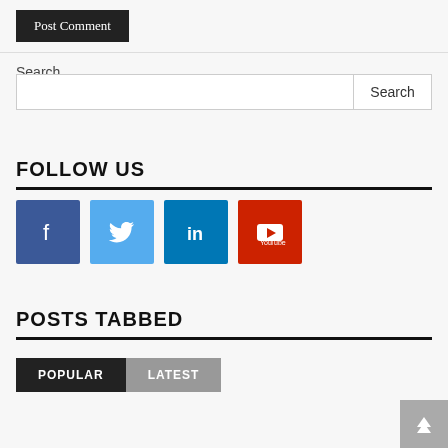[Figure (screenshot): Post Comment button, dark/black background with white text]
Search
[Figure (screenshot): Search input field with Search button]
FOLLOW US
[Figure (infographic): Social media icons: Facebook, Twitter, LinkedIn, YouTube]
POSTS TABBED
[Figure (screenshot): Tab bar with POPULAR (dark) and LATEST (grey) tabs]